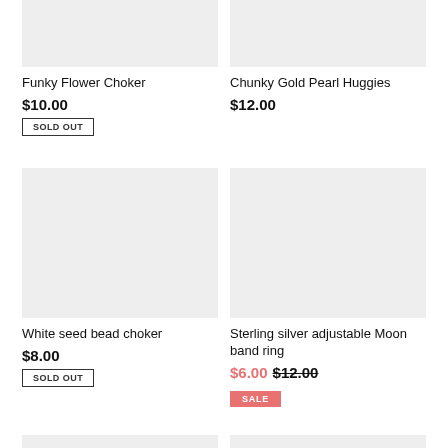[Figure (photo): Top-left product image placeholder (gray rectangle) for Funky Flower Choker]
Funky Flower Choker
$10.00
SOLD OUT
[Figure (photo): Top-right product image placeholder (gray rectangle) for Chunky Gold Pearl Huggies]
Chunky Gold Pearl Huggies
$12.00
[Figure (photo): Middle-left product image placeholder (gray rectangle) for White seed bead choker]
White seed bead choker
$8.00
SOLD OUT
[Figure (photo): Middle-right product image placeholder (gray rectangle) for Sterling silver adjustable Moon band ring]
Sterling silver adjustable Moon band ring
$6.00 $12.00
SALE